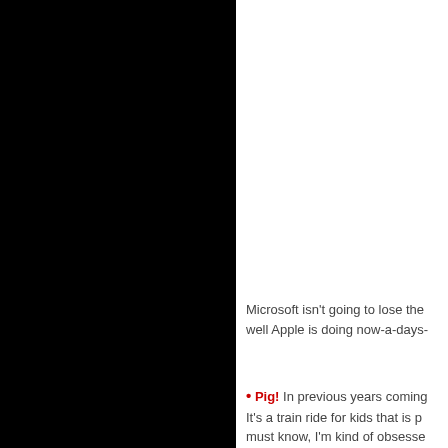[Figure (photo): Large black panel covering the left half of the page]
Microsoft isn't going to lose the well Apple is doing now-a-days-
Pig! In previous years coming It's a train ride for kids that is p must know, I'm kind of obsesse